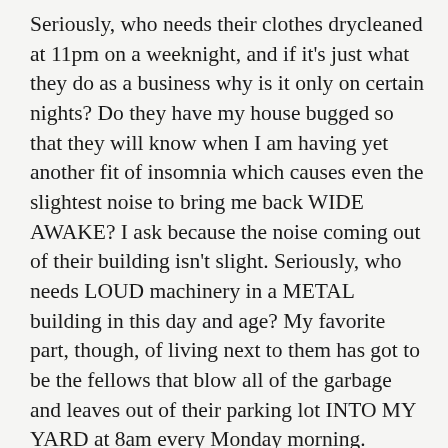Seriously, who needs their clothes drycleaned at 11pm on a weeknight, and if it's just what they do as a business why is it only on certain nights? Do they have my house bugged so that they will know when I am having yet another fit of insomnia which causes even the slightest noise to bring me back WIDE AWAKE? I ask because the noise coming out of their building isn't slight. Seriously, who needs LOUD machinery in a METAL building in this day and age? My favorite part, though, of living next to them has got to be the fellows that blow all of the garbage and leaves out of their parking lot INTO MY YARD at 8am every Monday morning. Seriously. The smell of the gasoline from the blowers is intoxicating.
Mills has adjusted to the new house, he now